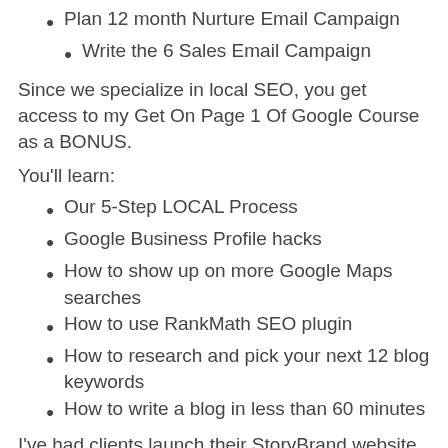Plan 12 month Nurture Email Campaign
Write the 6 Sales Email Campaign
Since we specialize in local SEO, you get access to my Get On Page 1 Of Google Course as a BONUS.
You'll learn:
Our 5-Step LOCAL Process
Google Business Profile hacks
How to show up on more Google Maps searches
How to use RankMath SEO plugin
How to research and pick your next 12 blog keywords
How to write a blog in less than 60 minutes
I've had clients launch their StoryBrand website and sales funnel in 90 days. Then we work on website traffic strategies for the rest of the 6 months. That